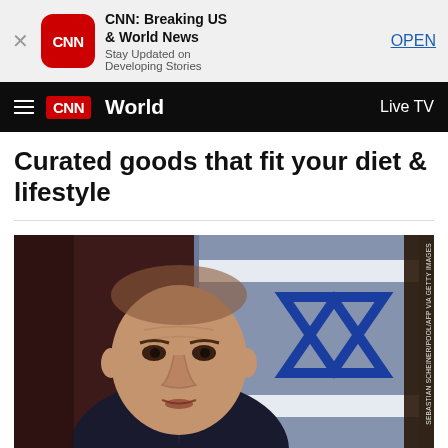[Figure (screenshot): App store ad banner for CNN Breaking US & World News app with CNN logo, close button (X), app icon, description text, and OPEN button]
CNN  World   Live TV
Curated goods that fit your diet & lifestyle
[Figure (photo): Close-up photo of a man in a suit speaking, with an Israeli flag (Star of David) visible in the background. Watermark text on right side reads: SEBASTIAN SCHEINER/POOL/AFP VIA GETTY IMAGES]